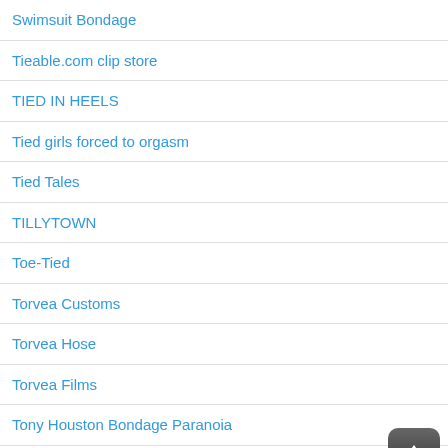Swimsuit Bondage
Tieable.com clip store
TIED IN HEELS
Tied girls forced to orgasm
Tied Tales
TILLYTOWN
Toe-Tied
Torvea Customs
Torvea Hose
Torvea Films
Tony Houston Bondage Paranoia
The attic of Jack Bond